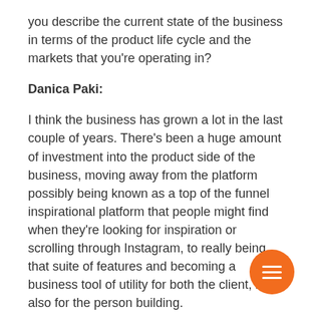you describe the current state of the business in terms of the product life cycle and the markets that you're operating in?
Danica Paki:
I think the business has grown a lot in the last couple of years. There's been a huge amount of investment into the product side of the business, moving away from the platform possibly being known as a top of the funnel inspirational platform that people might find when they're looking for inspiration or scrolling through Instagram, to really being that suite of features and becoming a business tool of utility for both the client, but also for the person building.
There's been a huge amount of effort, and I guess change in that space. I think the other piece for us as well is we've had a huge focus on resourcing ourselves